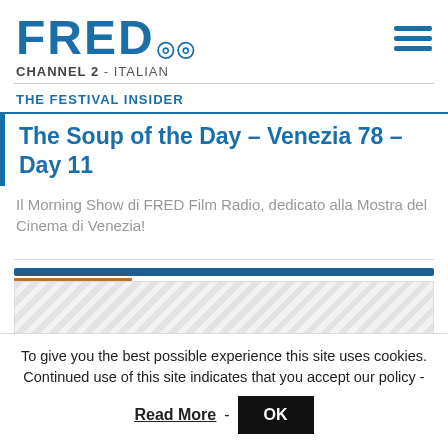FRED CHANNEL 2 - ITALIAN
THE FESTIVAL INSIDER
The Soup of the Day – Venezia 78 – Day 11
Il Morning Show di FRED Film Radio, dedicato alla Mostra del Cinema di Venezia!
[Figure (other): Audio player bar with waveform display]
To give you the best possible experience this site uses cookies. Continued use of this site indicates that you accept our policy -
Read More - OK